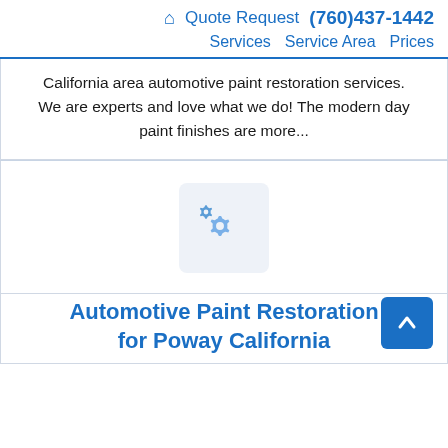🏠 Quote Request (760)437-1442 | Services | Service Area | Prices
California area automotive paint restoration services. We are experts and love what we do! The modern day paint finishes are more...
[Figure (illustration): Gear/settings icon placeholder image in a rounded square box]
Automotive Paint Restoration for Poway California